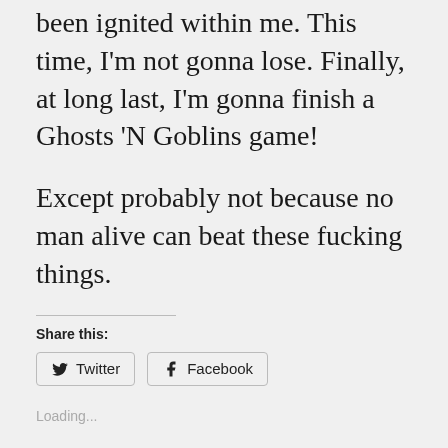been ignited within me. This time, I'm not gonna lose. Finally, at long last, I'm gonna finish a Ghosts 'N Goblins game!
Except probably not because no man alive can beat these fucking things.
Share this:
Twitter   Facebook
Loading...
March 19, 2021
Game Night Review: Video Games